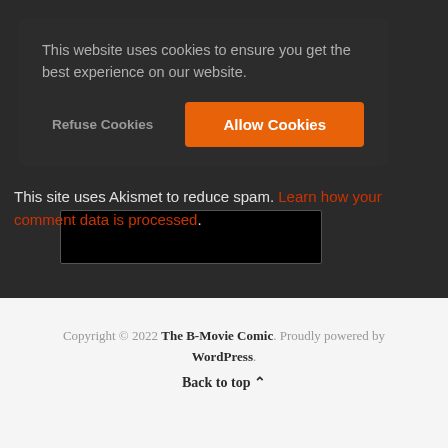This website uses cookies to ensure you get the best experience on our website.
Refuse Cookies | Allow Cookies
This site uses Akismet to reduce spam. Learn how your comment data is processed.
Copyright © 2022 The B-Movie Comic. Proudly powered by WordPress. Back to top ^